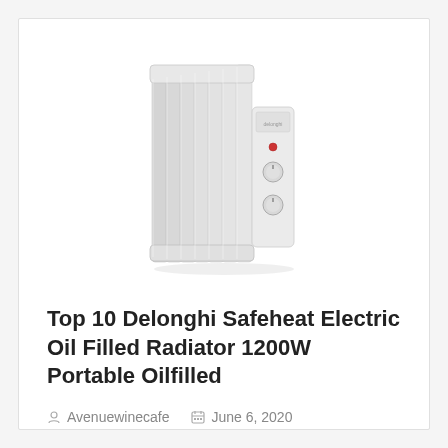[Figure (photo): A gray De'Longhi oil-filled electric radiator heater with multiple vertical fins and two control knobs on the right side panel.]
Top 10 Delonghi Safeheat Electric Oil Filled Radiator 1200W Portable Oilfilled
Avenuewinecafe   June 6, 2020